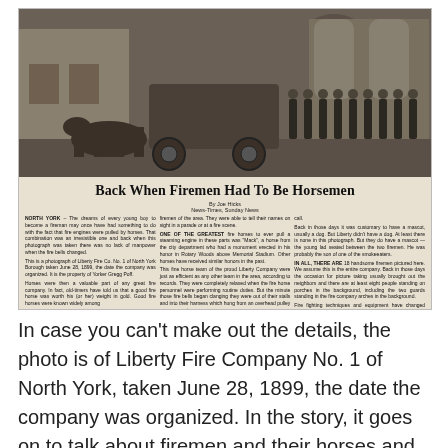[Figure (photo): Old black and white newspaper clipping with a photograph of Liberty Fire Company No. 1 of North York, showing firemen with horses and a fire engine, taken June 28, 1899. The article headline reads 'Back When Firemen Had To Be Horsemen' by Joe Hicks, News-Times, Sunday News.]
In case you can't make out the details, the photo is of Liberty Fire Company No. 1 of North York, taken June 28, 1899, the date the company was organized. In the story, it goes on to talk about firemen and their horses and says, "One of the greatest fire horses to ever pull